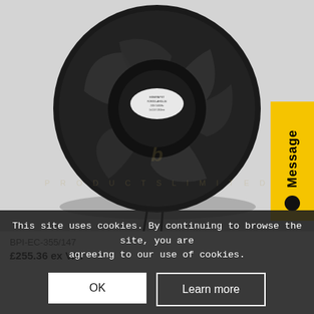[Figure (photo): Black centrifugal backward-curved fan/blower unit (BPI-EC-355/147) with circular housing, visible blades, central motor hub with label, and two wire leads at bottom. Watermark logo of Bardolph Products Limited visible in background.]
Message
This site uses cookies. By continuing to browse the site, you are agreeing to our use of cookies.
BPI-EC-355/147
£255.36 ex VAT